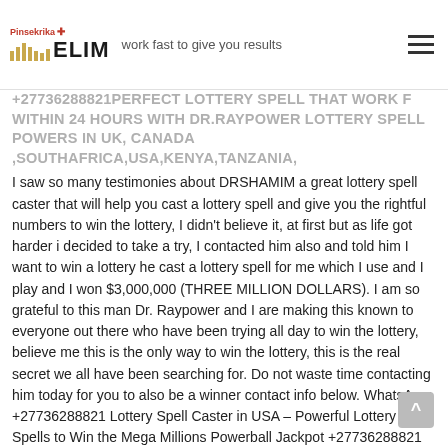Pinsekrika ELIM — work fast to give you results
+27736288821PERFECT LOTTERY SPELL THAT WORK FAST WITHIN 24 HOURS WITH DR.RAYPOWER LOTTERY SPELL POWERS IN UK, CANADA ,SOUTHAFRICA,USA,KENYA,TANZANIA,
I saw so many testimonies about DRSHAMIM a great lottery spell caster that will help you cast a lottery spell and give you the rightful numbers to win the lottery, I didn't believe it, at first but as life got harder i decided to take a try, I contacted him also and told him I want to win a lottery he cast a lottery spell for me which I use and I play and I won $3,000,000 (THREE MILLION DOLLARS). I am so grateful to this man Dr. Raypower and I are making this known to everyone out there who have been trying all day to win the lottery, believe me this is the only way to win the lottery, this is the real secret we all have been searching for. Do not waste time contacting him today for you to also be a winner contact info below. WhatsApp: +27736288821 Lottery Spell Caster in USA – Powerful Lottery Spells to Win the Mega Millions Powerball Jackpot +27736288821 Lottery gambling spells to win lots of money at the lotto jackpot. Get the lotto winning numbers using